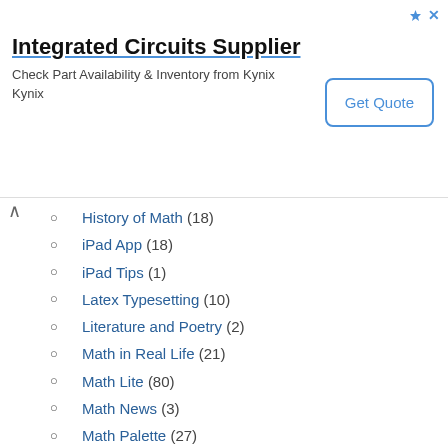[Figure (other): Advertisement banner for Integrated Circuits Supplier - Kynix, with Get Quote button]
History of Math (18)
iPad App (18)
iPad Tips (1)
Latex Typesetting (10)
Literature and Poetry (2)
Math in Real Life (21)
Math Lite (80)
Math News (3)
Math Palette (27)
Math Photos (2)
Math Software (13)
Maxima (3)
Microsoft Excel (1)
Microsoft Mathematics (8)
Microsoft PowerPoint (1)
Miscellaneous (102)